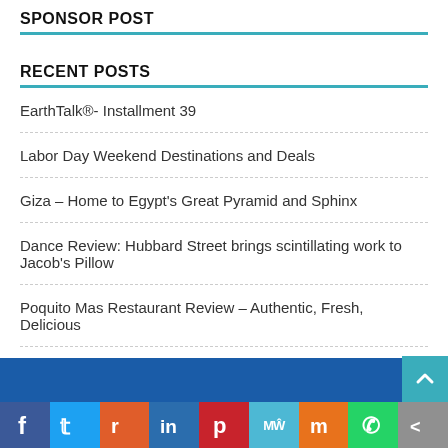SPONSOR POST
RECENT POSTS
EarthTalk®- Installment 39
Labor Day Weekend Destinations and Deals
Giza – Home to Egypt's Great Pyramid and Sphinx
Dance Review: Hubbard Street brings scintillating work to Jacob's Pillow
Poquito Mas Restaurant Review – Authentic, Fresh, Delicious
Social share bar: Facebook, Twitter, Reddit, LinkedIn, Pinterest, MixW, Mix, WhatsApp, Share